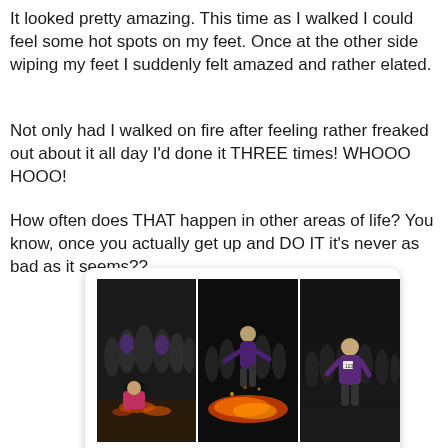It looked pretty amazing.  This time as I walked I could feel some hot spots on my feet. Once at the other side wiping my feet I suddenly felt amazed and rather elated.
Not only had I walked on fire after feeling rather freaked out about it all day I'd done it THREE times! WHOOO HOOO!
How often does THAT happen in other areas of life? You know, once you actually get up and DO IT it's never as bad as it seems??
[Figure (photo): Three side-by-side nighttime photos of a fire walking event: left shows a person kneeling near embers with crowd behind, center shows a person walking on glowing fire coals, right shows a person standing in a field at night with crowd in background.]